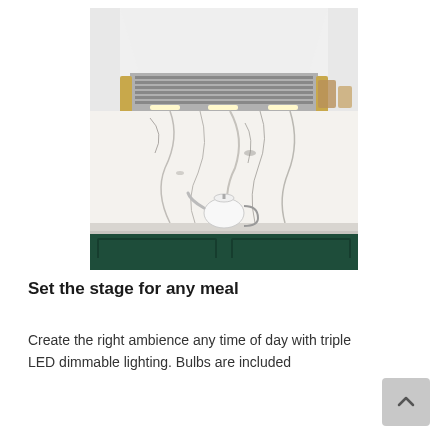[Figure (photo): Kitchen photo showing a white range hood above a marble backsplash with dark green lower cabinets and a white teapot on the countertop]
Set the stage for any meal
Create the right ambience any time of day with triple LED dimmable lighting. Bulbs are included